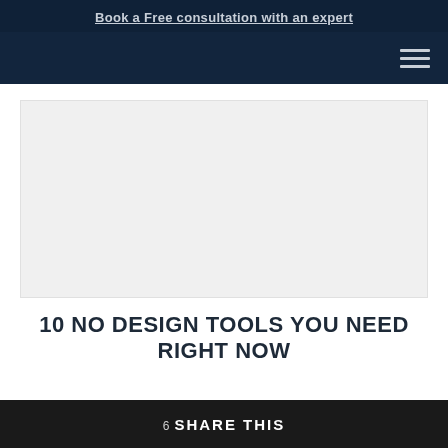Book a Free consultation with an expert
[Figure (other): Light gray placeholder image rectangle, representing a hero/featured image area]
10 NO DESIGN TOOLS YOU NEED RIGHT NOW
6 SHARE THIS